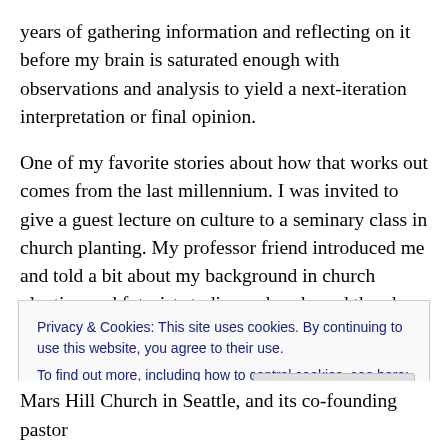years of gathering information and reflecting on it before my brain is saturated enough with observations and analysis to yield a next-iteration interpretation or final opinion.
One of my favorite stories about how that works out comes from the last millennium. I was invited to give a guest lecture on culture to a seminary class in church planting. My professor friend introduced me and told a bit about my background in church planting and futurist studies and such, and then he said, “And Brad is someone
Privacy & Cookies: This site uses cookies. By continuing to use this website, you agree to their use.
To find out more, including how to control cookies, see here: Cookie Policy
Close and accept
Mars Hill Church in Seattle, and its co-founding pastor